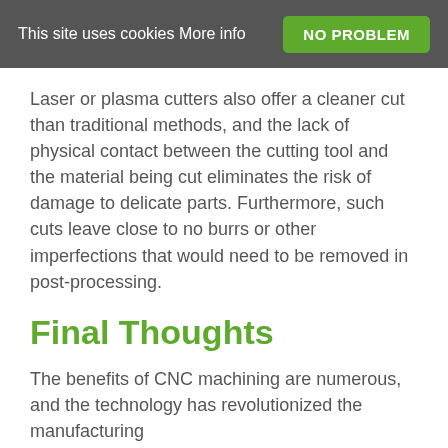This site uses cookies More info  NO PROBLEM
Laser or plasma cutters also offer a cleaner cut than traditional methods, and the lack of physical contact between the cutting tool and the material being cut eliminates the risk of damage to delicate parts. Furthermore, such cuts leave close to no burrs or other imperfections that would need to be removed in post-processing.
Final Thoughts
The benefits of CNC machining are numerous, and the technology has revolutionized the manufacturing